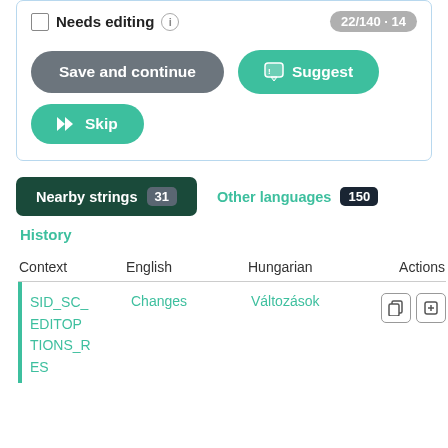[Figure (screenshot): UI panel with checkbox 'Needs editing', counter badge '22/140 · 14', buttons: 'Save and continue' (gray), 'Suggest' (green with icon), 'Skip' (green with skip icon)]
Nearby strings 31	Other languages 150
History
| Context | English | Hungarian | Actions |
| --- | --- | --- | --- |
| SID_SC_EDITOP TIONS_R ES | Changes | Változások |  |